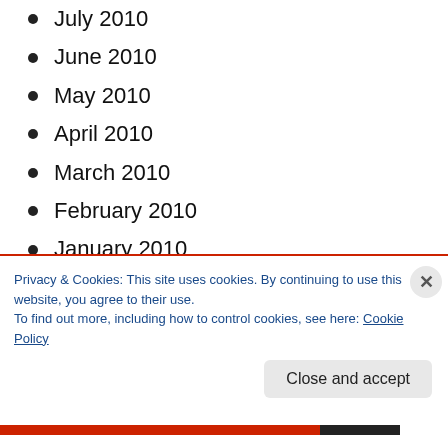July 2010
June 2010
May 2010
April 2010
March 2010
February 2010
January 2010
December 2009
November 2009
October 2009
September 2009
August 2009
Privacy & Cookies: This site uses cookies. By continuing to use this website, you agree to their use. To find out more, including how to control cookies, see here: Cookie Policy